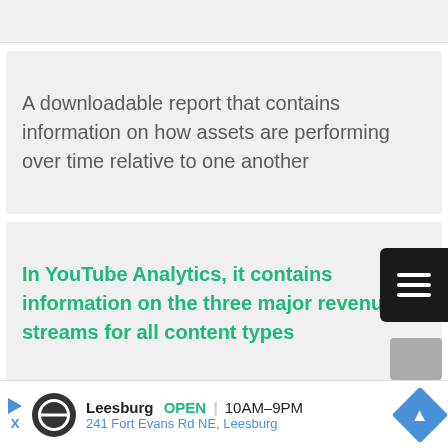A downloadable report that contains information on how assets are performing over time relative to one another
In YouTube Analytics, it contains information on the three major revenue streams for all content types
[Figure (other): Advertisement bar: Leesburg OPEN 10AM-9PM, 241 Fort Evans Rd NE, Leesburg with navigation icon]